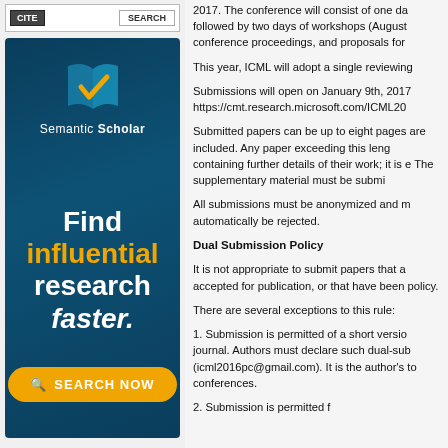[Figure (logo): Semantic Scholar advertisement banner with logo, 'Find influential research faster.' headline, and SEARCH NOW button on dark teal background]
2017. The conference will consist of one da followed by two days of workshops (August conference proceedings, and proposals for
This year, ICML will adopt a single reviewing
Submissions will open on January 9th, 2017 https://cmt.research.microsoft.com/ICML20
Submitted papers can be up to eight pages are included. Any paper exceeding this leng containing further details of their work; it is e The supplementary material must be submi
All submissions must be anonymized and m automatically be rejected.
Dual Submission Policy
It is not appropriate to submit papers that a accepted for publication, or that have been policy.
There are several exceptions to this rule:
1. Submission is permitted of a short versio journal. Authors must declare such dual-sub (icml2016pc@gmail.com). It is the author's to conferences.
2. Submission is permitted f